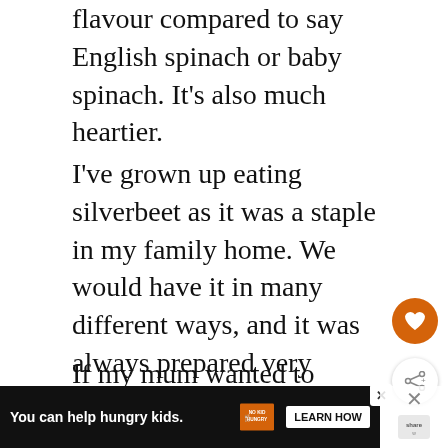flavour compared to say English spinach or baby spinach. It’s also much heartier.
I’ve grown up eating silverbeet as it was a staple in my family home. We would have it in many different ways, and it was always prepared very simply.
If my mum wanted to make a quick meal, a silverbeet recipe was generally on the cards, next to other quick dishes like this cabbage pasta.
My mum being Croatian grew up eating
[Figure (other): Advertisement banner: 'You can help hungry kids.' with No Kid Hungry logo and LEARN HOW button]
[Figure (other): Floating heart/save button (orange circle) and share button (white circle with share icon)]